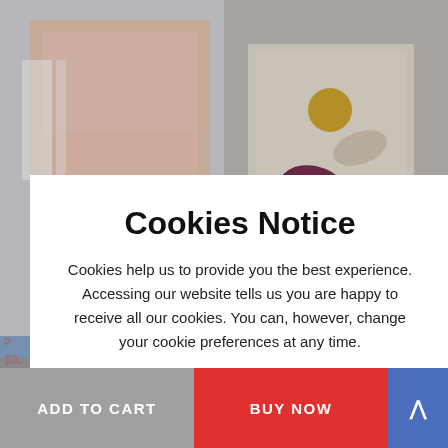[Figure (screenshot): E-commerce product grid background showing two art prints — a pink gradient arch print on the left and a Boho abstract shapes print on the right — partially obscured by a cookie consent modal overlay.]
Cookies Notice
Cookies help us to provide you the best experience. Accessing our website tells us you are happy to receive all our cookies. You can, however, change your cookie preferences at any time.
I'LL TAKE THE COOKIES
ADD TO CART
BUY NOW